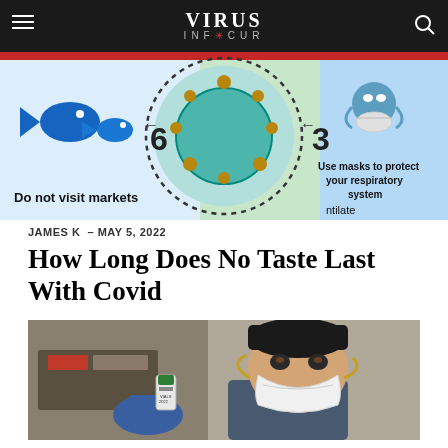VIRUS DETECTOR
[Figure (infographic): COVID-19 prevention infographic showing: fish market icon with 'Do not visit markets' text, coronavirus particle illustration with dashed circle numbered 6, and masked person profile with 'Use masks to protect your respiratory system' text, number 3]
JAMES K  – MAY 5, 2022
How Long Does No Taste Last With Covid
[Figure (photo): Healthcare worker wearing N95 respirator mask and blue gloves holding a small vaccine vial]